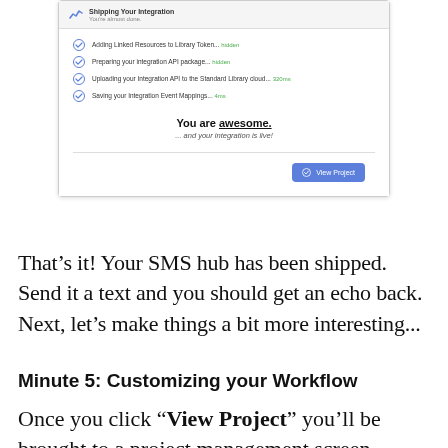[Figure (screenshot): A screenshot of a Standard Library integration shipping confirmation UI, showing a progress checklist with items: 'Adding Linked Resources to Library Token... hidden', 'Preparing your integration API package... hidden', 'Uploading your Integration API to the Standard Library cloud... 320ms', 'Saving your Integration Event Mappings... 4ms', followed by bold text 'You are awesome.' (with underline on 'awesome') and subtitle '... and your integration is live!', and a blue 'View Project' button at the bottom right.]
That’s it! Your SMS hub has been shipped. Send it a text and you should get an echo back. Next, let’s make things a bit more interesting...
Minute 5: Customizing your Workflow
Once you click “View Project” you’ll be brought to a project management screen